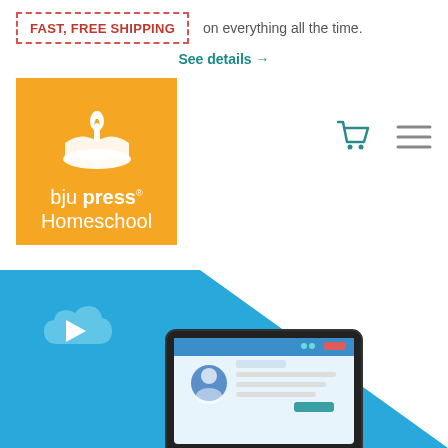FAST, FREE SHIPPING on everything all the time.
See details →
[Figure (logo): BJU Press Homeschool logo: orange square background with white torch/book icon and white text 'bju press Homeschool']
[Figure (screenshot): Hero banner with blue background, cloud play button icon (video streaming), white diagonal triangle, and a tablet device screenshot at the bottom showing a course page]